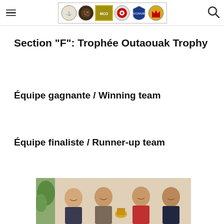Navigation header with hamburger menu, logo banner with club badges, and search icon
Section "F": Trophée Outaouak Trophy
Équipe gagnante / Winning team
Équipe finaliste / Runner-up team
[Figure (photo): Four men standing together indoors, smiling at the camera, likely a team photo for the trophy presentation.]